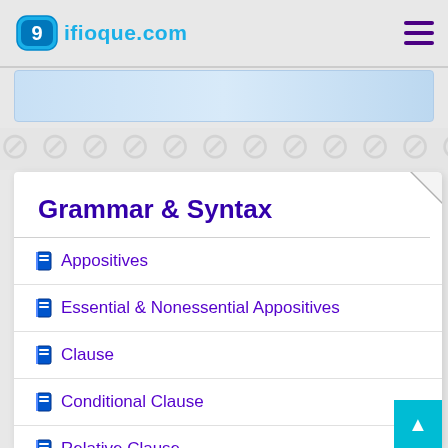9ifioque.com
Grammar & Syntax
Appositives
Essential & Nonessential Appositives
Clause
Conditional Clause
Relative Clause